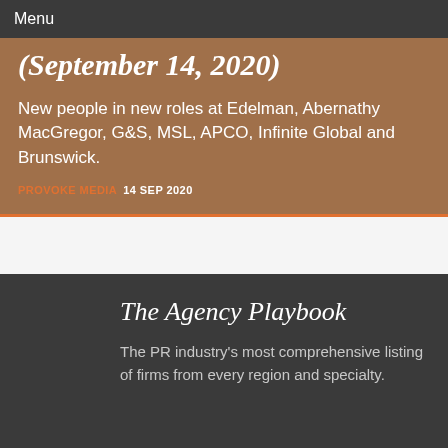Menu
(September 14, 2020)
New people in new roles at Edelman, Abernathy MacGregor, G&S, MSL, APCO, Infinite Global and Brunswick.
PROVOKE MEDIA  14 SEP 2020
The Agency Playbook
The PR industry's most comprehensive listing of firms from every region and specialty.